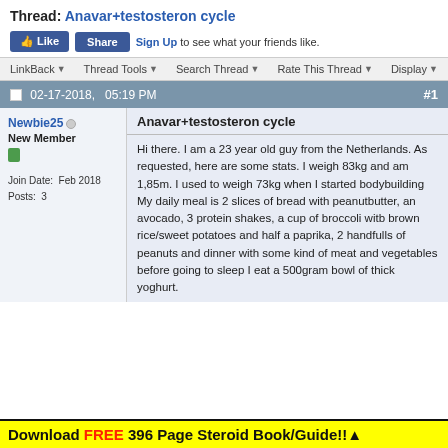Thread: Anavar+testosteron cycle
Like  Share  Sign Up to see what your friends like.
LinkBack  Thread Tools  Search Thread  Rate This Thread  Display
02-17-2018,  05:19 PM  #1
Newbie25
New Member
Join Date: Feb 2018
Posts: 3
Anavar+testosteron cycle
Hi there. I am a 23 year old guy from the Netherlands. As requested, here are some stats. I weigh 83kg and am 1,85m. I used to weigh 73kg when I started bodybuilding
My daily meal is 2 slices of bread with peanutbutter, an avocado, 3 protein shakes, a cup of broccoli witb brown rice/sweet potatoes and half a paprika, 2 handfulls of peanuts and dinner with some kind of meat and vegetables before going to sleep I eat a 500gram bowl of thick yoghurt.
Download FREE 396 Page Steroid Book/Guide!! ▲